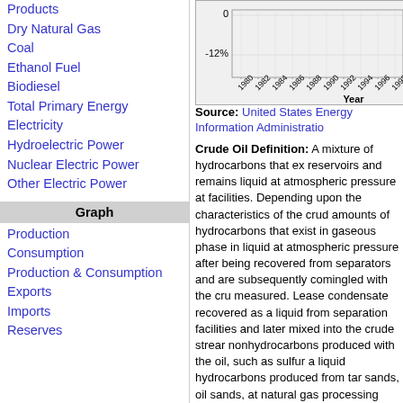Products
Dry Natural Gas
Coal
Ethanol Fuel
Biodiesel
Total Primary Energy
Electricity
Hydroelectric Power
Nuclear Electric Power
Other Electric Power
Graph
Production
Consumption
Production & Consumption
Exports
Imports
Reserves
[Figure (continuous-plot): Line chart showing percentage change over years 1980-1998, with y-axis showing 0 and -12% values and x-axis labeled 'Year']
Source: United States Energy Information Administration
Crude Oil Definition: A mixture of hydrocarbons that exist in reservoirs and remains liquid at atmospheric pressure at facilities. Depending upon the characteristics of the crude amounts of hydrocarbons that exist in gaseous phase in liquid at atmospheric pressure after being recovered from separators and are subsequently comingled with the cru measured. Lease condensate recovered as a liquid from separation facilities and later mixed into the crude stream nonhydrocarbons produced with the oil, such as sulfur a liquid hydrocarbons produced from tar sands, oil sands, at natural gas processing plants are excluded. Crude oil petroleum products, including heating oils; gasoline, dies ethane, propane, and butane; and many other products
See also: Commodity prices
See also: Commodities market